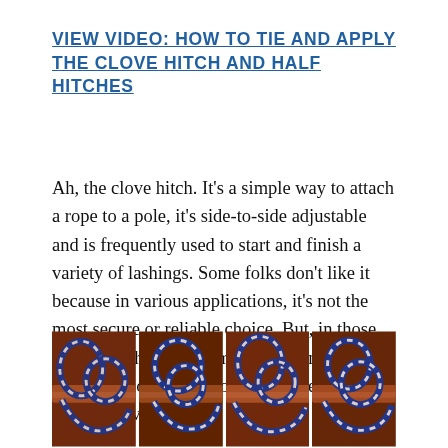VIEW VIDEO: HOW TO TIE AND APPLY THE CLOVE HITCH AND HALF HITCHES
Ah, the clove hitch. It's a simple way to attach a rope to a pole, it's side-to-side adjustable and is frequently used to start and finish a variety of lashings. Some folks don't like it because in various applications, it's not the most secure or reliable choice. But, in those instances, there are numerous alternatives. See the following photos—all close clove hitch relatives.
[Figure (photo): Four close-up photographs of blue and white rope tied in clove hitch knots around a wooden pole, showing different stages or variations of the knot.]